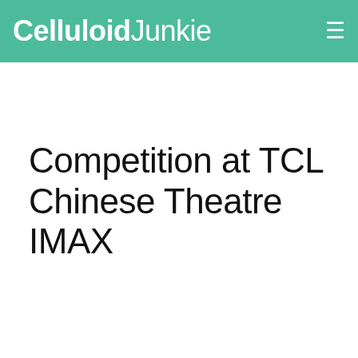Celluloid Junkie
Competition at TCL Chinese Theatre IMAX
For 90 years the home of the most important events in cinema, the famed TCL Chinese Theatre Hollywood hosted one of the most important esports tournaments of 2018, the debut Arena of Valor World Cup on July 27 and 28. “Arena of Valor” is the world’s
We and selected third parties use cookies or similar technologies for technical purposes and, with your consent, for other purposes as specified in the cookie policy. You can freely give, deny, or withdraw your consent at any time. You can consent to the use of such technologies by using the “Ok” button. By closing this notice, you continue without accepting.